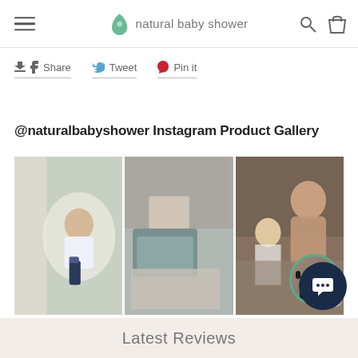natural baby shower
Share  Tweet  Pin it
@naturalbabyshower Instagram Product Gallery
[Figure (photo): Three Instagram product photos: a baby lying in a baby nest, baby products/changing bag laid out, and a mother interacting with her baby on the floor]
Latest Reviews